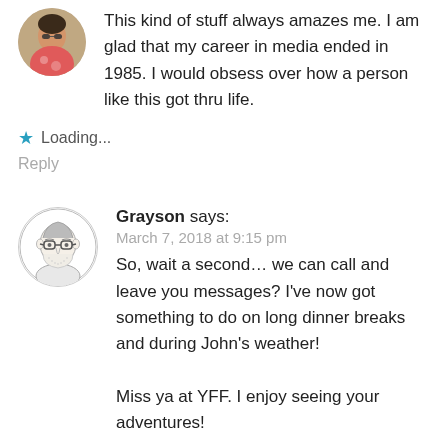This kind of stuff always amazes me. I am glad that my career in media ended in 1985. I would obsess over how a person like this got thru life.
★ Loading...
Reply
Grayson says:
March 7, 2018 at 9:15 pm
So, wait a second… we can call and leave you messages? I've now got something to do on long dinner breaks and during John's weather!

Miss ya at YFF. I enjoy seeing your adventures!